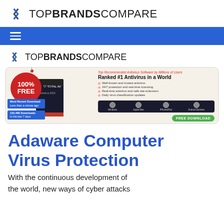TOP BRANDS COMPARE
[Figure (logo): TopBrandsCompare logo with angular bracket icon]
[Figure (screenshot): TotalAV Antivirus 2020 advertisement banner: 100% FREE, Ranked #1 Antivirus in a World, with platform icons and FREE DOWNLOAD button]
Adaware Computer Virus Protection
With the continuous development of the world, new ways of cyber attacks